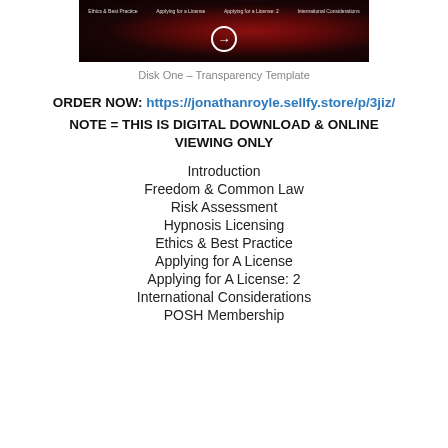[Figure (screenshot): Dark-themed banner image with red nebula/galaxy background, navigation tabs at top (Ethics & Best Practice, Applying for a License, Applying for a License: 2, International Considerations), and a circular arrow button in the center-bottom area.]
Disk One – Transparency Template
ORDER NOW: https://jonathanroyle.sellfy.store/p/3jiz/
NOTE = THIS IS DIGITAL DOWNLOAD & ONLINE VIEWING ONLY
Introduction
Freedom & Common Law
Risk Assessment
Hypnosis Licensing
Ethics & Best Practice
Applying for A License
Applying for A License: 2
International Considerations
POSH Membership